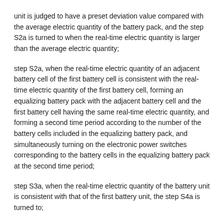unit is judged to have a preset deviation value compared with the average electric quantity of the battery pack, and the step S2a is turned to when the real-time electric quantity is larger than the average electric quantity;
step S2a, when the real-time electric quantity of an adjacent battery cell of the first battery cell is consistent with the real-time electric quantity of the first battery cell, forming an equalizing battery pack with the adjacent battery cell and the first battery cell having the same real-time electric quantity, and forming a second time period according to the number of the battery cells included in the equalizing battery pack, and simultaneously turning on the electronic power switches corresponding to the battery cells in the equalizing battery pack at the second time period;
step S3a, when the real-time electric quantity of the battery unit is consistent with that of the first battery unit, the step S4a is turned to;
step S4a, forming a plurality of balancing battery packs respectively, each balancing battery pack including the battery cells that are adjacent to each other and have consistent real-time electric quantities, forming a corresponding second time period for each balancing battery pack, and turning on the electronic